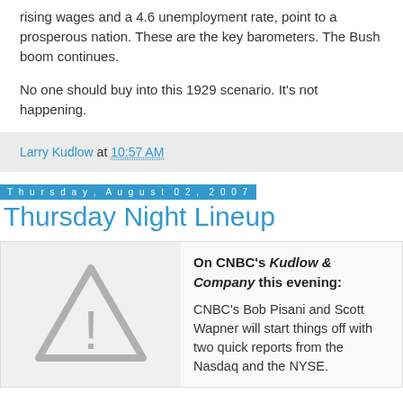rising wages and a 4.6 unemployment rate, point to a prosperous nation. These are the key barometers. The Bush boom continues.
No one should buy into this 1929 scenario. It's not happening.
Larry Kudlow at 10:57 AM
Thursday, August 02, 2007
Thursday Night Lineup
On CNBC's Kudlow & Company this evening:

CNBC's Bob Pisani and Scott Wapner will start things off with two quick reports from the Nasdaq and the NYSE.